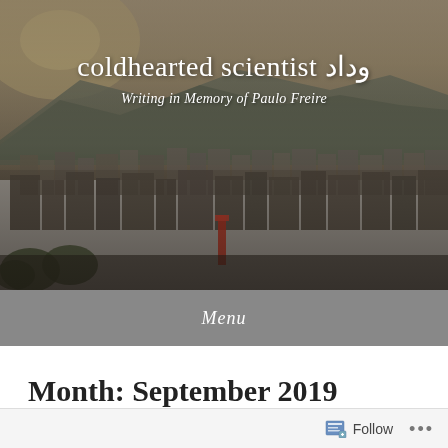[Figure (photo): Aerial/elevated view of a dense city with mountains in the background, warm hazy atmosphere. Overlaid with blog title text in white.]
coldhearted scientist وداد
Writing in Memory of Paulo Freire
Menu
Month: September 2019
Follow ...